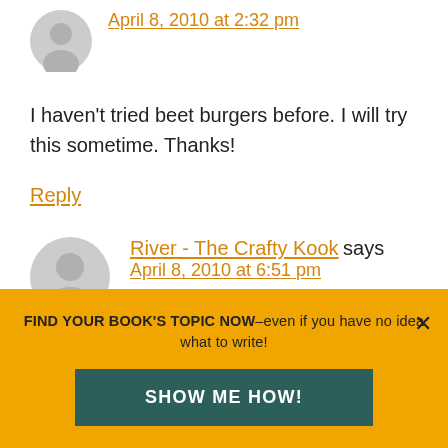April 8, 2010 at 2:32 pm
I haven't tried beet burgers before. I will try this sometime. Thanks!
Reply
River - The Crafty Kook says
April 8, 2010 at 6:51 pm
Happy anniversary! And happy birthday to
FIND YOUR BOOK'S TOPIC NOW–even if you have no idea what to write!
SHOW ME HOW!